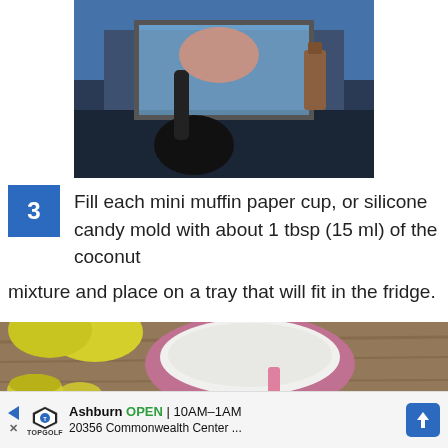[Figure (photo): Person holding food item at a counter or kitchen window]
3  Fill each mini muffin paper cup, or silicone candy mold with about 1 tbsp (15 ml) of the coconut mixture and place on a tray that will fit in the fridge.
[Figure (photo): Bowl of white coconut mixture on wooden table with yellow mini muffin cups]
Ashburn  OPEN  10AM-1AM  20356 Commonwealth Center ...